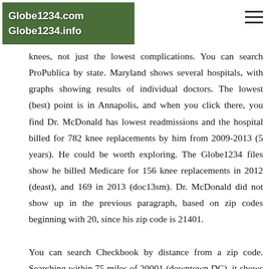Globe1234.com Globe1234.info
knees, not just the lowest complications. You can search ProPublica by state. Maryland shows several hospitals, with graphs showing results of individual doctors. The lowest (best) point is in Annapolis, and when you click there, you find Dr. McDonald has lowest readmissions and the hospital billed for 782 knee replacements by him from 2009-2013 (5 years). He could be worth exploring. The Globe1234 files show he billed Medicare for 156 knee replacements in 2012 (deast), and 169 in 2013 (doc13sm). Dr. McDonald did not show up in the previous paragraph, based on zip codes beginning with 20, since his zip code is 21401.
You can search Checkbook by distance from a zip code. Searching within 75 miles of 20001 (downtown DC), it shows 12 knee surgeons with the lowest "bad outcomes", and you can